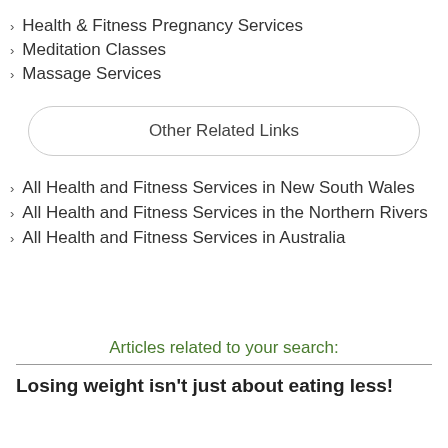Health & Fitness Pregnancy Services
Meditation Classes
Massage Services
Other Related Links
All Health and Fitness Services in New South Wales
All Health and Fitness Services in the Northern Rivers
All Health and Fitness Services in Australia
Articles related to your search:
Losing weight isn't just about eating less!